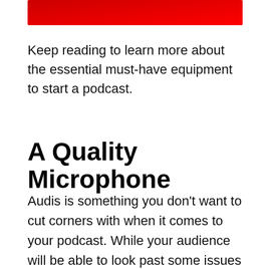[Figure (other): Red decorative bar at top of page]
Keep reading to learn more about the essential must-have equipment to start a podcast.
A Quality Microphone
Audis is something you don't want to cut corners with when it comes to your podcast. While your audience will be able to look past some issues when you are first starting out – subpar audio is